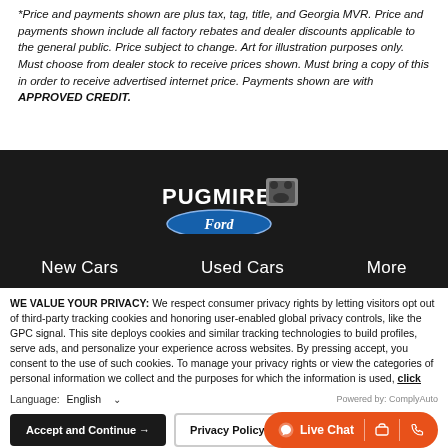Price and payments shown are plus tax, tag, title, and Georgia MVR. Price and payments shown include all factory rebates and dealer discounts applicable to the general public. Price subject to change. Art for illustration purposes only. Must choose from dealer stock to receive prices shown. Must bring a copy of this in order to receive advertised internet price. Payments shown are with APPROVED CREDIT.
[Figure (logo): Pugmire Ford dealership logo — white text PUGMIRE with bear icon and Ford blue oval logo on dark background]
New Cars   Used Cars   More
WE VALUE YOUR PRIVACY: We respect consumer privacy rights by letting visitors opt out of third-party tracking cookies and honoring user-enabled global privacy controls, like the GPC signal. This site deploys cookies and similar tracking technologies to build profiles, serve ads, and personalize your experience across websites. By pressing accept, you consent to the use of such cookies. To manage your privacy rights or view the categories of personal information we collect and the purposes for which the information is used, click here.
Language: English
Accept and Continue →   Privacy Policy   Live Chat